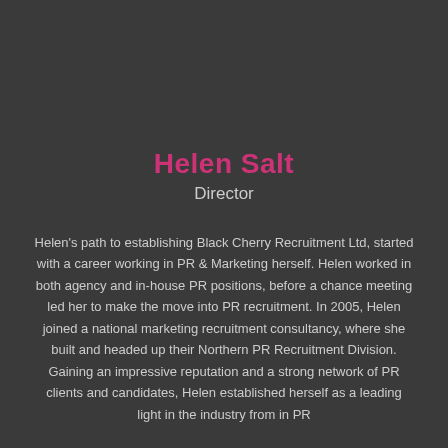Helen Salt
Director
Helen's path to establishing Black Cherry Recruitment Ltd, started with a career working in PR & Marketing herself. Helen worked in both agency and in-house PR positions, before a chance meeting led her to make the move into PR recruitment. In 2005, Helen joined a national marketing recruitment consultancy, where she built and headed up their Northern PR Recruitment Division. Gaining an impressive reputation and a strong network of PR clients and candidates, Helen established herself as a leading light in the industry from in PR